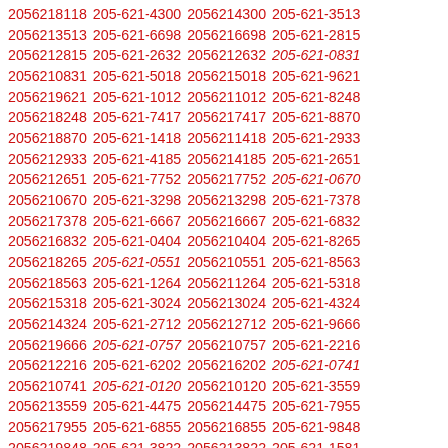2056218118 205-621-4300 2056214300 205-621-3513 2056213513 205-621-6698 2056216698 205-621-2815 2056212815 205-621-2632 2056212632 205-621-0831 2056210831 205-621-5018 2056215018 205-621-9621 2056219621 205-621-1012 2056211012 205-621-8248 2056218248 205-621-7417 2056217417 205-621-8870 2056218870 205-621-1418 2056211418 205-621-2933 2056212933 205-621-4185 2056214185 205-621-2651 2056212651 205-621-7752 2056217752 205-621-0670 2056210670 205-621-3298 2056213298 205-621-7378 2056217378 205-621-6667 2056216667 205-621-6832 2056216832 205-621-0404 2056210404 205-621-8265 2056218265 205-621-0551 2056210551 205-621-8563 2056218563 205-621-1264 2056211264 205-621-5318 2056215318 205-621-3024 2056213024 205-621-4324 2056214324 205-621-2712 2056212712 205-621-9666 2056219666 205-621-0757 2056210757 205-621-2216 2056212216 205-621-6202 2056216202 205-621-0741 2056210741 205-621-0120 2056210120 205-621-3559 2056213559 205-621-4475 2056214475 205-621-7955 2056217955 205-621-6855 2056216855 205-621-9848 2056219848 205-621-3822 2056213822 205-621-1581 2056211581 205-621-8762 2056218762 205-621-9495 2056219495 205-621-7863 2056217863 205-621-8073 2056218073 205-621-5789 2056215789 205-621-8233